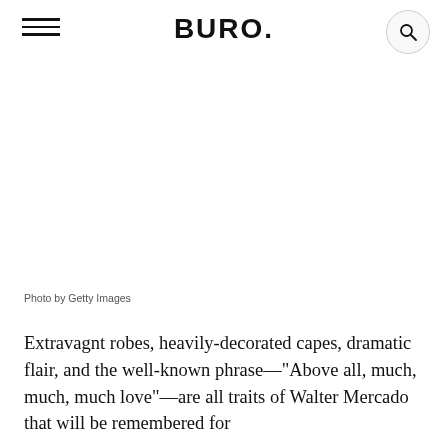BURO.
Photo by Getty Images
Extravagnt robes, heavily-decorated capes, dramatic flair, and the well-known phrase—"Above all, much, much, much love"—are all traits of Walter Mercado that will be remembered for...